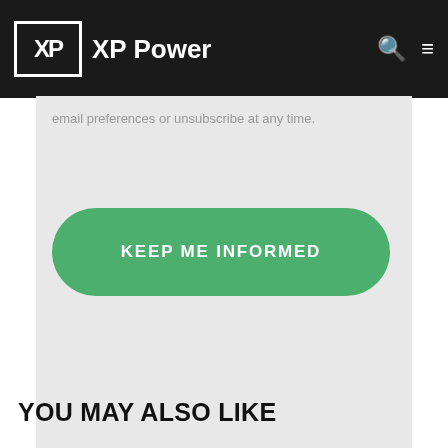XP Power
email preferences or unsubscribe at any time.
[Figure (other): Green rounded button with text KEEP ME INFORMED]
YOU MAY ALSO LIKE